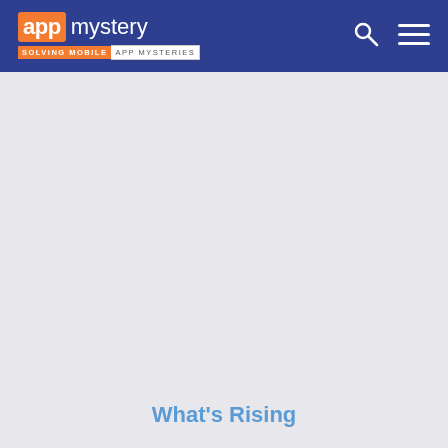app mystery — Solving Mobile App Mysteries
What's Rising